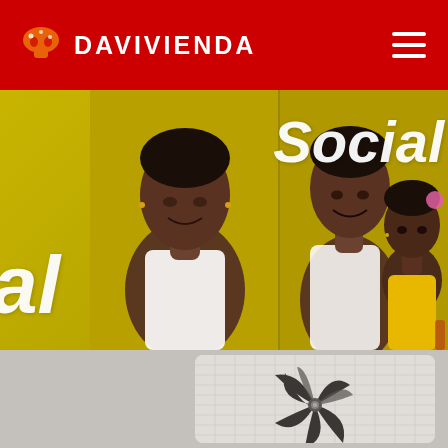[Figure (logo): Davivienda bank logo with red header, house icon, and hamburger menu]
[Figure (photo): Split photo collage on yellow-green background showing two women smiling, one holding a young child in yellow outfit. White italic text overlay reads 'Social' on the right and partial 'al' on the left.]
[Figure (photo): Black and white photo of a spiral/fan-shaped mechanical or architectural element in the bottom section of the page, on a gray background.]